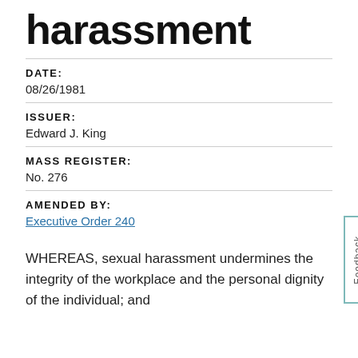harassment
DATE:
08/26/1981
ISSUER:
Edward J. King
MASS REGISTER:
No. 276
AMENDED BY:
Executive Order 240
WHEREAS, sexual harassment undermines the integrity of the workplace and the personal dignity of the individual; and